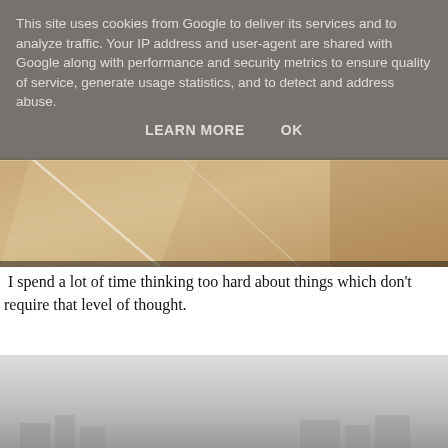This site uses cookies from Google to deliver its services and to analyze traffic. Your IP address and user-agent are shared with Google along with performance and security metrics to ensure quality of service, generate usage statistics, and to detect and address abuse.
LEARN MORE    OK
[Figure (photo): Close-up photo of a light brown/tan surface, possibly a bathtub or countertop edge, with soft lighting and shallow depth of field.]
I spend a lot of time thinking too hard about things which don't require that level of thought.
[Figure (photo): A foggy, misty outdoor scene with very low visibility; faint outlines of buildings or structures visible at the bottom through dense fog.]